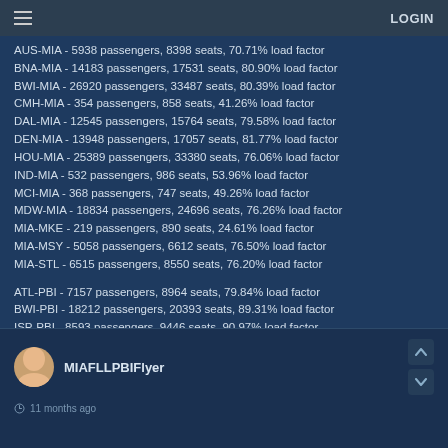≡   LOGIN
AUS-MIA - 5938 passengers, 8398 seats, 70.71% load factor
BNA-MIA - 14183 passengers, 17531 seats, 80.90% load factor
BWI-MIA - 26920 passengers, 33487 seats, 80.39% load factor
CMH-MIA - 354 passengers, 858 seats, 41.26% load factor
DAL-MIA - 12545 passengers, 15764 seats, 79.58% load factor
DEN-MIA - 13948 passengers, 17057 seats, 81.77% load factor
HOU-MIA - 25389 passengers, 33380 seats, 76.06% load factor
IND-MIA - 532 passengers, 986 seats, 53.96% load factor
MCI-MIA - 368 passengers, 747 seats, 49.26% load factor
MDW-MIA - 18834 passengers, 24696 seats, 76.26% load factor
MIA-MKE - 219 passengers, 890 seats, 24.61% load factor
MIA-MSY - 5058 passengers, 6612 seats, 76.50% load factor
MIA-STL - 6515 passengers, 8550 seats, 76.20% load factor
ATL-PBI - 7157 passengers, 8964 seats, 79.84% load factor
BWI-PBI - 18212 passengers, 20393 seats, 89.31% load factor
ISP-PBI - 8593 passengers, 9446 seats, 90.97% load factor
MIAFLLPBIFlyer
11 months ago